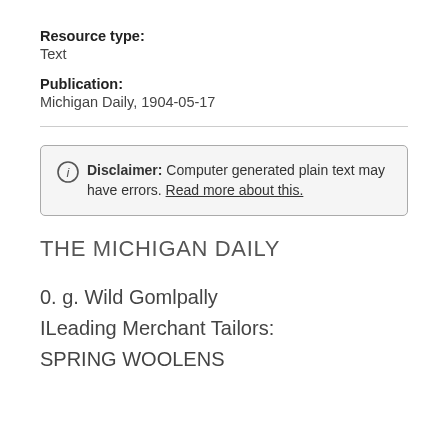Resource type: Text
Publication: Michigan Daily, 1904-05-17
Disclaimer: Computer generated plain text may have errors. Read more about this.
THE MICHIGAN DAILY
0. g. Wild Gomlpally
ILeading Merchant Tailors:
SPRING WOOLENS